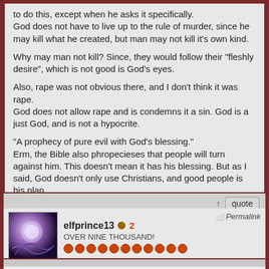to do this, except when he asks it specifically.
God does not have to live up to the rule of murder, since he may kill what he created, but man may not kill it's own kind.

Why may man not kill? Since, they would follow their "fleshly desire", which is not good is God's eyes.

Also, rape was not obvious there, and I don't think it was rape.
God does not allow rape and is condemns it a sin. God is a just God, and is not a hypocrite.

"A prophecy of pure evil with God's blessing."
Erm, the Bible also phropecieses that people will turn against him. This doesn't mean it has his blessing. But as I said, God doesn't only use Christians, and good people is his plan.

No, you are wrong and this is just another proog that you in fact do not understand the thing you are discussing, and are just looking for verses that seem fit to use against me. I think you should read this:
http://www.godandscience.org/apologetics/slavery_bible.html

Let people here judge for themselves, who knows it better.
quote
elfprince13  2
OVER NINE THOUSAND!
Permalink
Keep the arguments in this topic related to homosexuality or I'll start deleting off topic stuff.